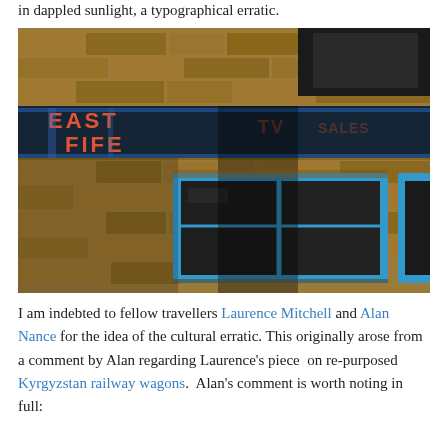in dappled sunlight, a typographical erratic.
[Figure (photo): Photograph of a weathered stone building facade with blue-painted window frames and an old painted sign reading 'EAST FIFE' in red/orange lettering on a dark background band across the middle of the wall.]
I am indebted to fellow travellers Laurence Mitchell and Alan Nance for the idea of the cultural erratic. This originally arose from a comment by Alan regarding Laurence's piece on re-purposed Kyrgyzstan railway wagons. Alan's comment is worth noting in full: